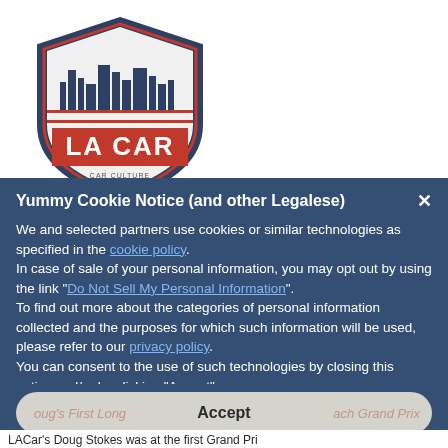[Figure (logo): LA CAR logo — shield shape with dark navy border, cityscape silhouette, red banner reading LA CAR, text CAR CULTURE GROUNDS.ORG below]
Yummy Cookie Notice (and other Legalese)
We and selected partners use cookies or similar technologies as specified in the cookie policy.
In case of sale of your personal information, you may opt out by using the link "Do Not Sell My Personal Information".
To find out more about the categories of personal information collected and the purposes for which such information will be used, please refer to our privacy policy.
You can consent to the use of such technologies by closing this notice and/or by clicking "Accept".
Accept
LACar's Doug Stokes was at the first Grand Prix